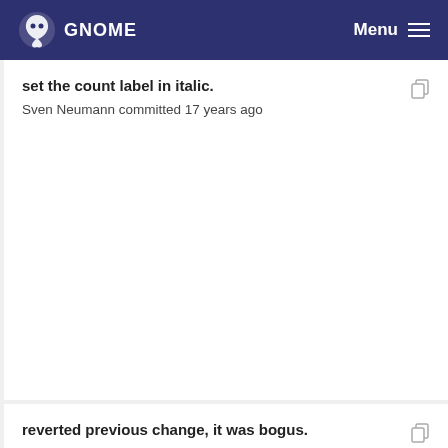GNOME  Menu
set the count label in italic.
Sven Neumann committed 17 years ago
reverted previous change, it was bogus.
Sven Neumann committed 17 years ago